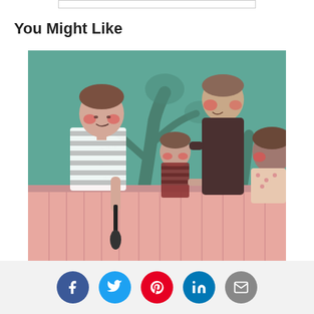You Might Like
[Figure (illustration): Painting depicting four children with rosy red cheeks standing behind a pink fence/ledge. Green background with tree motifs. One child on the left wears a striped shirt and holds something dark. Center has two smaller children, and the right edge shows another child partially visible.]
Social share buttons: Facebook, Twitter, Pinterest, LinkedIn, Email